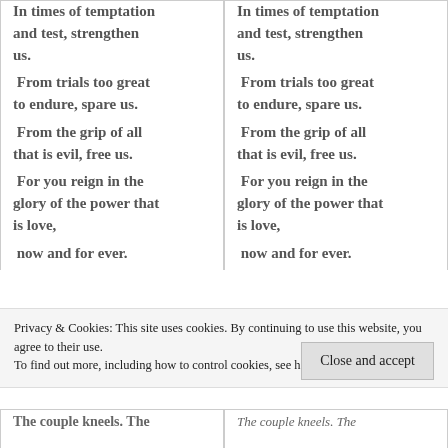In times of temptation and test, strengthen us.
 From trials too great to endure, spare us.
 From the grip of all that is evil, free us.
 For you reign in the glory of the power that is love,
 now and for ever.
In times of temptation and test, strengthen us.
 From trials too great to endure, spare us.
 From the grip of all that is evil, free us.
 For you reign in the glory of the power that is love,
 now and for ever.
Privacy & Cookies: This site uses cookies. By continuing to use this website, you agree to their use. To find out more, including how to control cookies, see here: Cookie Policy
Close and accept
The couple kneels. The
The couple kneels. The